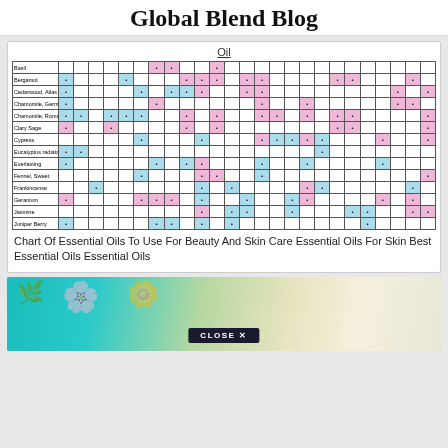Global Blend Blog
Oil
[Figure (table-as-image): Chart of essential oils grid showing which oils are suitable for various uses, with colored (pink and blue) cells and dot markers. Oils listed include Basil, Bergamot, Cedarwood Atlas, Chamomile German, Chamomile Roman, Clary Sage, Cypress, Eucalyptus radiata, Everlasting, Fennel Sweet, Frankincense, Geranium, Jasmine, Juniper Berry.]
Chart Of Essential Oils To Use For Beauty And Skin Care Essential Oils For Skin Best Essential Oils Essential Oils
[Figure (photo): Close-up photo of white flowers with orange stamens on a teal background, with a CLOSE X button overlay]